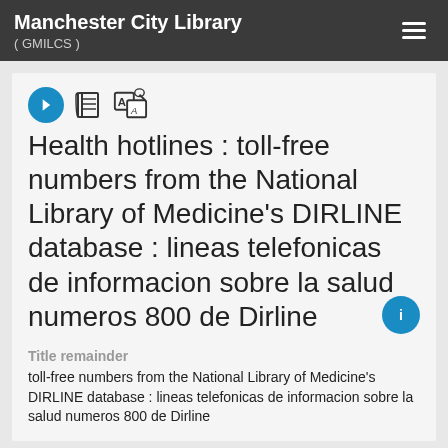Manchester City Library ( GMILCS )
Health hotlines : toll-free numbers from the National Library of Medicine's DIRLINE database : lineas telefonicas de informacion sobre la salud numeros 800 de Dirline
Title remainder
toll-free numbers from the National Library of Medicine's DIRLINE database : lineas telefonicas de informacion sobre la salud numeros 800 de Dirline